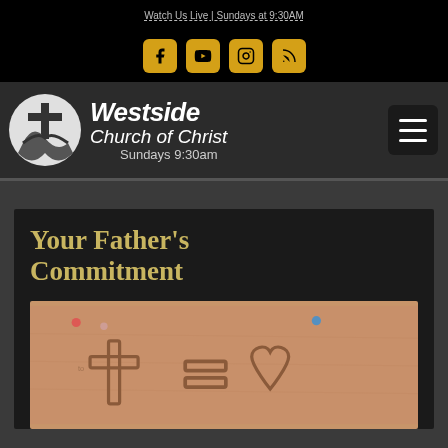Watch Us Live | Sundays at 9:30AM
[Figure (logo): Social media icons: Facebook, YouTube, Instagram, RSS feed - gold colored on black background]
[Figure (logo): Westside Church of Christ logo with cross emblem, text reads 'Westside Church of Christ Sundays 9:30am', with hamburger menu icon]
Your Father's Commitment
[Figure (photo): Image drawn in sand showing a cross plus sign equals heart, with colorful push pins in the corners]